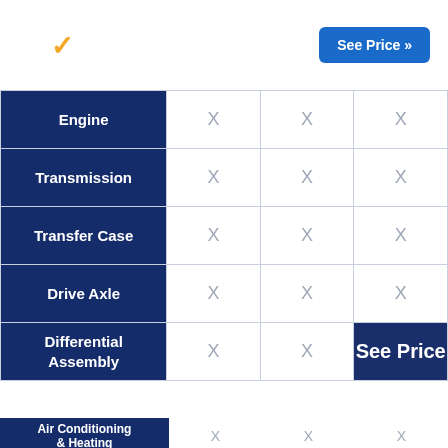[Figure (logo): Several.com logo with yellow checkmark replacing the 'v']
| Category | Col1 | Col2 | Col3 |
| --- | --- | --- | --- |
| Engine | X | X | X |
| Transmission | X | X | X |
| Transfer Case | X | X | X |
| Drive Axle | X | X | X |
| Differential Assembly | X | X | See Price |
Jump to:
| Category | Col1 | Col2 | Col3 |
| --- | --- | --- | --- |
| Air Conditioning & Heating | X | X | X |